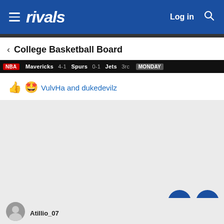rivals — Log in
< College Basketball Board
[Figure (screenshot): Sports ticker bar showing NBA scores: Mavericks vs Spurs vs Jets — MONDAY]
👍🤩 VulvHa and dukedevilz
[Figure (photo): Gray background area with user avatar partially visible at bottom left and username text, plus navigation FAB buttons (up and down arrows) at bottom right]